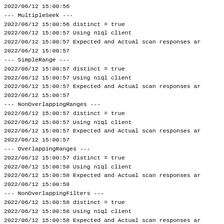2022/06/12 15:00:56
--- MultipleSeek ---
2022/06/12 15:00:56 distinct = true
2022/06/12 15:00:57 Using n1ql client
2022/06/12 15:00:57 Expected and Actual scan responses ar
2022/06/12 15:00:57
--- SimpleRange ---
2022/06/12 15:00:57 distinct = true
2022/06/12 15:00:57 Using n1ql client
2022/06/12 15:00:57 Expected and Actual scan responses ar
2022/06/12 15:00:57
--- NonOverlappingRanges ---
2022/06/12 15:00:57 distinct = true
2022/06/12 15:00:57 Using n1ql client
2022/06/12 15:00:57 Expected and Actual scan responses ar
2022/06/12 15:00:57
--- OverlappingRanges ---
2022/06/12 15:00:57 distinct = true
2022/06/12 15:00:58 Using n1ql client
2022/06/12 15:00:58 Expected and Actual scan responses ar
2022/06/12 15:00:58
--- NonOverlappingFilters ---
2022/06/12 15:00:58 distinct = true
2022/06/12 15:00:58 Using n1ql client
2022/06/12 15:00:58 Expected and Actual scan responses ar
2022/06/12 15:00:58
--- OverlappingFilters ---
2022/06/12 15:00:58 distinct = true
2022/06/12 15:00:59 Using n1ql client
2022/06/12 15:00:59 Expected and Actual scan responses ar